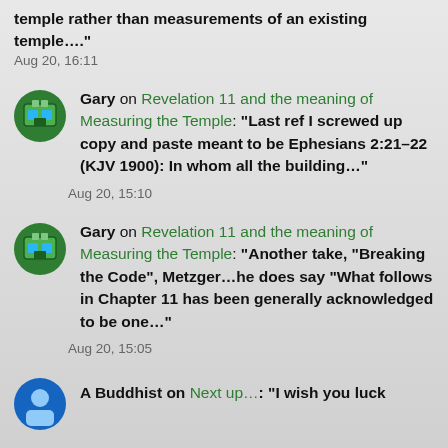temple rather than measurements of an existing temple…."
Aug 20, 16:11
Gary on Revelation 11 and the meaning of Measuring the Temple: "Last ref I screwed up copy and paste meant to be Ephesians 2:21–22 (KJV 1900): In whom all the building…"
Aug 20, 15:10
Gary on Revelation 11 and the meaning of Measuring the Temple: "Another take, "Breaking the Code", Metzger…he does say "What follows in Chapter 11 has been generally acknowledged to be one…"
Aug 20, 15:05
A Buddhist on Next up…: "I wish you luck